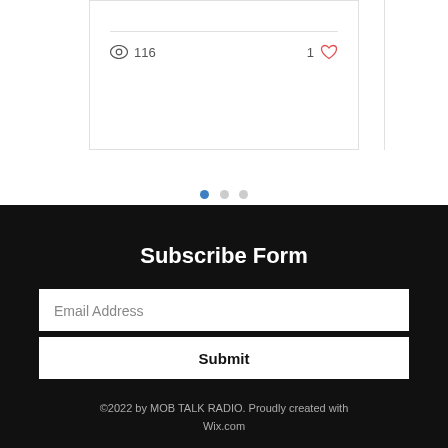[Figure (screenshot): Partial blog post card showing a divider line, eye/view icon with count 116, and a heart icon with count 1]
[Figure (infographic): Carousel navigation dots: one filled blue dot and two gray dots]
Subscribe Form
Email Address
Submit
©2022 by MOB TALK RADIO. Proudly created with Wix.com